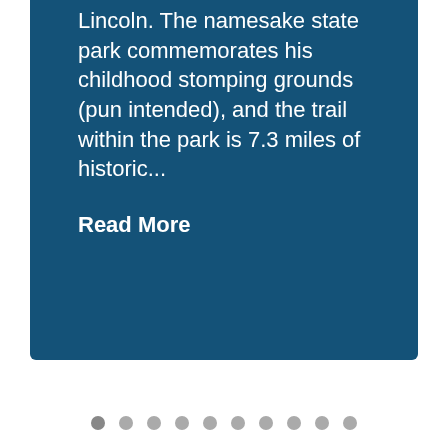Lincoln. The namesake state park commemorates his childhood stomping grounds (pun intended), and the trail within the park is 7.3 miles of historic...
Read More